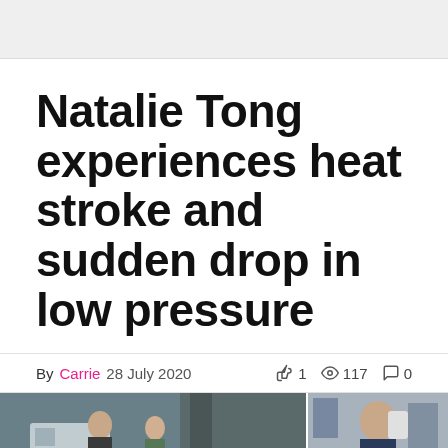[Figure (other): Gray advertisement banner at top of page]
Natalie Tong experiences heat stroke and sudden drop in low pressure
By Carrie 28 July 2020   👍 1  👁 117  💬 0
[Figure (photo): Two photos side by side: left photo shows a man and a woman outdoors near a tree and van; right photo shows a woman holding something near her face in an urban setting]